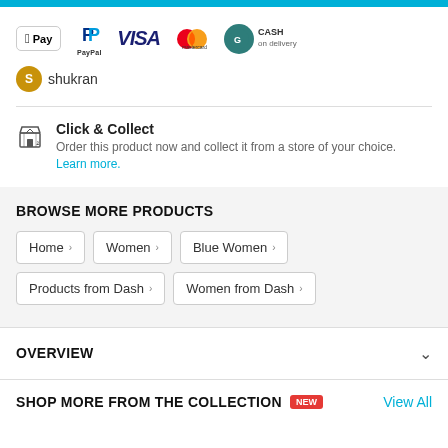[Figure (infographic): Payment method logos: Apple Pay, PayPal, VISA, Mastercard, Cash on delivery, Shukran]
Click & Collect
Order this product now and collect it from a store of your choice.
Learn more.
BROWSE MORE PRODUCTS
Home
Women
Blue Women
Products from Dash
Women from Dash
OVERVIEW
SHOP MORE FROM THE COLLECTION
View All